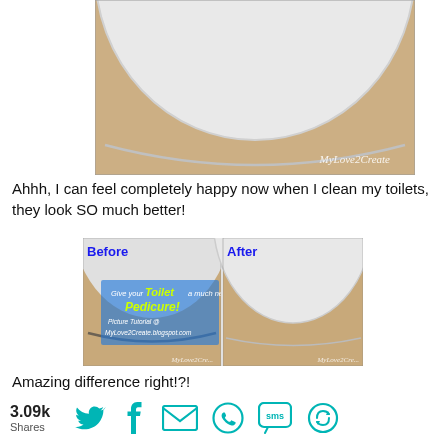[Figure (photo): Close-up photo of the bottom of a white toilet bowl against a beige tile floor, with watermark 'MyLove2Create' in bottom right corner]
Ahhh, I can feel completely happy now when I clean my toilets, they look SO much better!
[Figure (photo): Before and after side-by-side comparison photos of toilet base. Before image shows dark stain/gap at base; After image shows clean white toilet base. Blue overlay text reads 'Give your Toilet a much needed Pedicure! Picture Tutorial @ MyLove2Create.blogspot.com'. Both images have MyLove2Create watermarks.]
Amazing difference right!?!
3.09k Shares